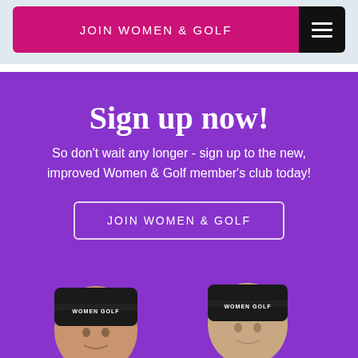JOIN WOMEN & GOLF
Sign up now!
So don't wait any longer - sign up to the new, improved Women & Golf member's club today!
JOIN WOMEN & GOLF
[Figure (photo): Two women wearing black beanie hats with 'WOMEN GOLF' text on them, photographed from shoulders up against a purple background]